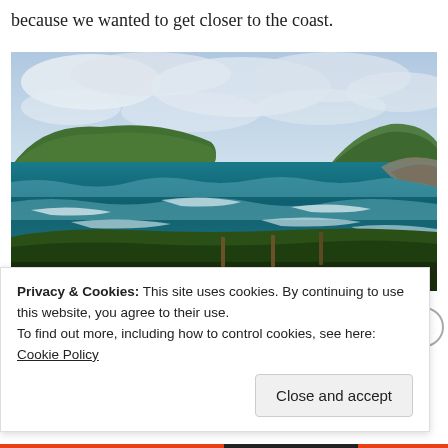because we wanted to get closer to the coast.
[Figure (photo): Coastal landscape photograph showing a dramatic Irish coastline with two green headlands/islands in the background, rough turquoise ocean waves in the middle, and lush green foreground pasture with wooden fence posts.]
Privacy & Cookies: This site uses cookies. By continuing to use this website, you agree to their use.
To find out more, including how to control cookies, see here: Cookie Policy
Close and accept